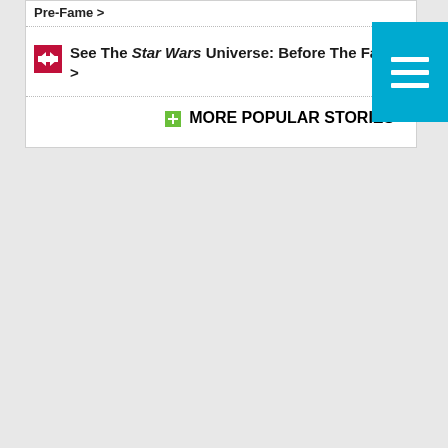Pre-Fame >
See The Star Wars Universe: Before The Fame! >
MORE POPULAR STORIES >